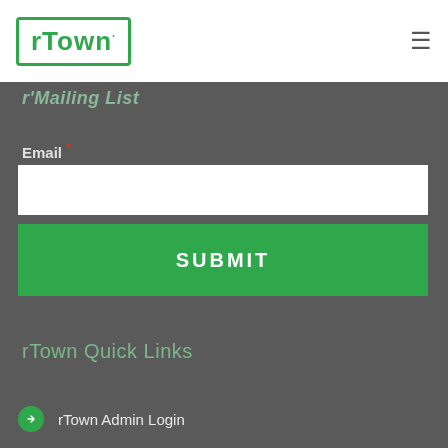[Figure (logo): rTown logo in green border box in white navigation bar]
≡
r'Mailing List
Email *
rTown Quick Links
rTown Admin Login